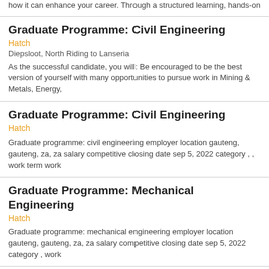how it can enhance your career. Through a structured learning, hands-on
Graduate Programme: Civil Engineering
Hatch
Diepsloot, North Riding to Lanseria
As the successful candidate, you will: Be encouraged to be the best version of yourself with many opportunities to pursue work in Mining & Metals, Energy,
Graduate Programme: Civil Engineering
Hatch
Graduate programme: civil engineering employer location gauteng, gauteng, za, za salary competitive closing date sep 5, 2022 category , , work term work
Graduate Programme: Mechanical Engineering
Hatch
Graduate programme: mechanical engineering employer location gauteng, gauteng, za, za salary competitive closing date sep 5, 2022 category , work
Mine planner
Mass Staffing Projects
Job description an exciting opportunity has become available for a mine